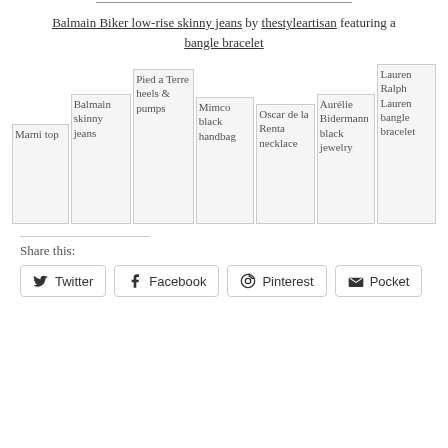Balmain Biker low-rise skinny jeans by thestyleartisan featuring a bangle bracelet
[Figure (photo): Row of 7 product images: Marni top, Balmain skinny jeans, Pied a Terre heels & pumps, Mimco black handbag, Oscar de la Renta necklace, Aurelie Bidermann black jewelry, Lauren Ralph Lauren bangle bracelet]
Share this:
Twitter
Facebook
Pinterest
Pocket